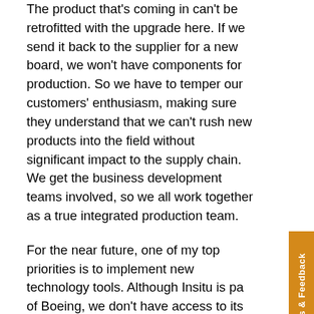The product that's coming in can't be retrofitted with the upgrade here. If we send it back to the supplier for a new board, we won't have components for production. So we have to temper our customers' enthusiasm, making sure they understand that we can't rush new products into the field without significant impact to the supply chain. We get the business development teams involved, so we all work together as a true integrated production team.
For the near future, one of my top priorities is to implement new technology tools. Although Insitu is part of Boeing, we don't have access to its systems, including its supplier portal. I plan to implement a portal of our own, to foster better communications with our supplier base. I also want to implement an electronic system for documenting our procurement activities. Both systems will help my group work smarter while saving money.